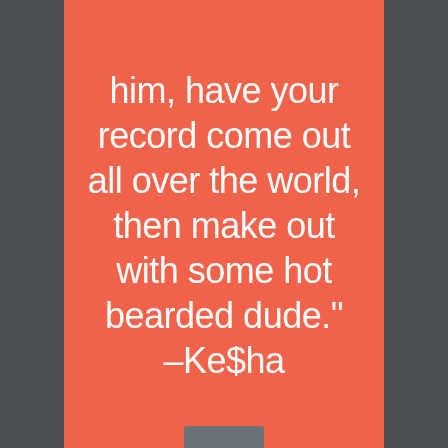him, have your record come out all over the world, then make out with some hot bearded dude." –Ke$ha